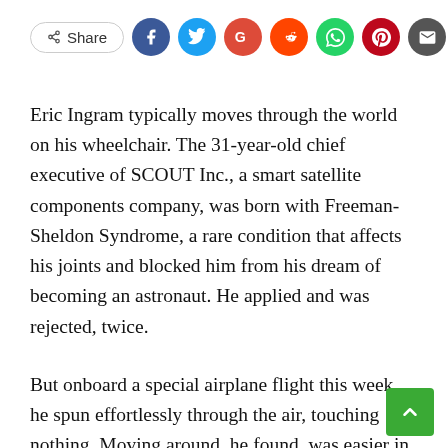[Figure (infographic): Social share bar with a Share button (outlined pill shape) followed by circular social media icons: Facebook (blue), Twitter (cyan), Google (red), Reddit (orange-red), WhatsApp (green), Pinterest (dark red), Email (dark gray)]
Eric Ingram typically moves through the world on his wheelchair. The 31-year-old chief executive of SCOUT Inc., a smart satellite components company, was born with Freeman-Sheldon Syndrome, a rare condition that affects his joints and blocked him from his dream of becoming an astronaut. He applied and was rejected, twice.
But onboard a special airplane flight this week, he spun effortlessly through the air, touching nothing. Moving around, he found, was easier in the simulated zero-gravity environment where he needed so few tools to help.
While simulating lunar gravity on the flight — which is